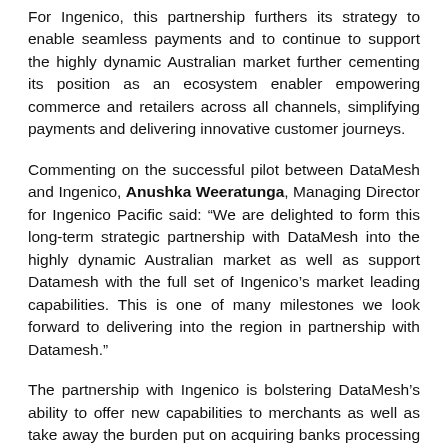For Ingenico, this partnership furthers its strategy to enable seamless payments and to continue to support the highly dynamic Australian market further cementing its position as an ecosystem enabler empowering commerce and retailers across all channels, simplifying payments and delivering innovative customer journeys.
Commenting on the successful pilot between DataMesh and Ingenico, Anushka Weeratunga, Managing Director for Ingenico Pacific said: “We are delighted to form this long-term strategic partnership with DataMesh into the highly dynamic Australian market as well as support Datamesh with the full set of Ingenico’s market leading capabilities. This is one of many milestones we look forward to delivering into the region in partnership with Datamesh.”
The partnership with Ingenico is bolstering DataMesh’s ability to offer new capabilities to merchants as well as take away the burden put on acquiring banks processing transactions.